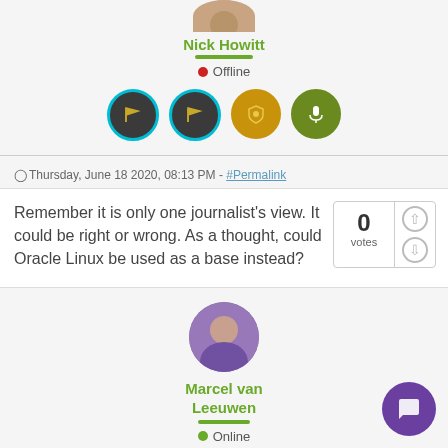[Figure (photo): Circular avatar photo of Nick Howitt, partially cropped at top]
Nick Howitt
Offline
[Figure (illustration): Four circular icon buttons: two dark gray with flag icons (cyan border), one gold/yellow with shield icon, one olive green with microphone icon]
Thursday, June 18 2020, 08:13 PM - #Permalink
Remember it is only one journalist's view. It could be right or wrong. As a thought, could Oracle Linux be used as a base instead?
[Figure (infographic): Vote box showing 0 votes with up and down arrow buttons]
[Figure (photo): Circular avatar photo of Marcel van Leeuwen in purple shirt]
Marcel van Leeuwen
Online